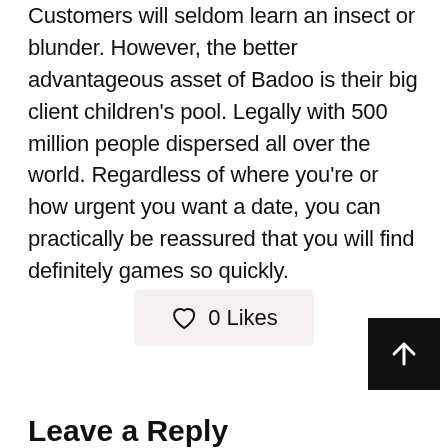Customers will seldom learn an insect or blunder. However, the better advantageous asset of Badoo is their big client children's pool. Legally with 500 million people dispersed all over the world. Regardless of where you're or how urgent you want a date, you can practically be reassured that you will find definitely games so quickly.
[Figure (other): 0 Likes button with heart icon on light pink/beige background]
[Figure (other): Back to top arrow button, dark/black background with upward arrow]
Leave a Reply